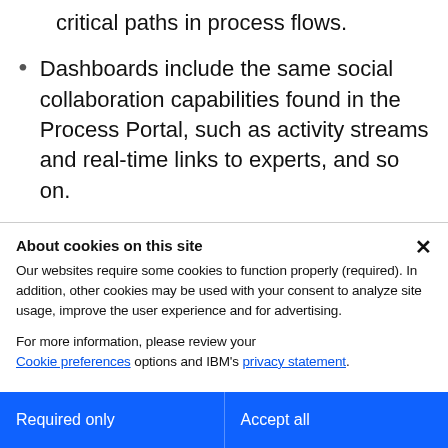critical paths in process flows.
Dashboards include the same social collaboration capabilities found in the Process Portal, such as activity streams and real-time links to experts, and so on.
Manage document artifacts and attachments consistently, whether stored internally or in
About cookies on this site
Our websites require some cookies to function properly (required). In addition, other cookies may be used with your consent to analyze site usage, improve the user experience and for advertising.
For more information, please review your Cookie preferences options and IBM's privacy statement.
Required only
Accept all